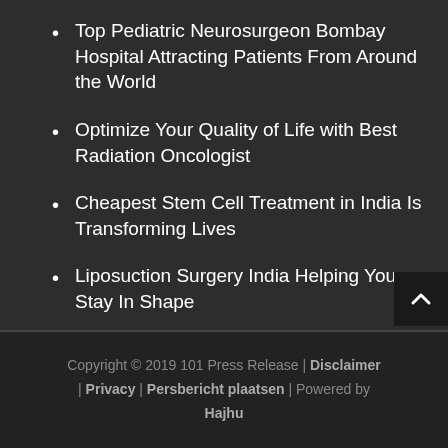Top Pediatric Neurosurgeon Bombay Hospital Attracting Patients From Around the World
Optimize Your Quality of Life with Best Radiation Oncologist
Cheapest Stem Cell Treatment in India Is Transforming Lives
Liposuction Surgery India Helping You Stay In Shape
Copyright © 2019 101 Press Release | Disclaimer | Privacy | Persbericht plaatsen | Powered by Hajhu